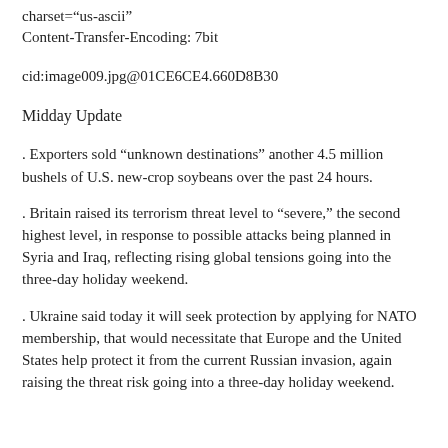charset="us-ascii"
Content-Transfer-Encoding: 7bit
cid:image009.jpg@01CE6CE4.660D8B30
Midday Update
. Exporters sold “unknown destinations” another 4.5 million bushels of U.S. new-crop soybeans over the past 24 hours.
. Britain raised its terrorism threat level to “severe,” the second highest level, in response to possible attacks being planned in Syria and Iraq, reflecting rising global tensions going into the three-day holiday weekend.
. Ukraine said today it will seek protection by applying for NATO membership, that would necessitate that Europe and the United States help protect it from the current Russian invasion, again raising the threat risk going into a three-day holiday weekend.